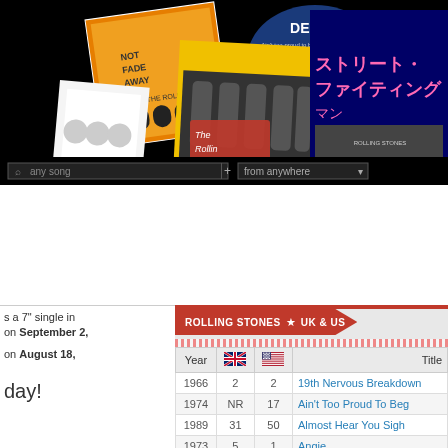[Figure (photo): Rolling Stones header banner with album covers collage on black background, including 'Not Fade Away' and other singles, plus search bar below]
s a 7" single in on September 2,
on August 18,
day!
| Year | UK | US | Title |
| --- | --- | --- | --- |
| 1966 | 2 | 2 | 19th Nervous Breakdown |
| 1974 | NR | 17 | Ain't Too Proud To Beg |
| 1989 | 31 | 50 | Almost Hear You Sigh |
| 1973 | 5 | 1 | Angie |